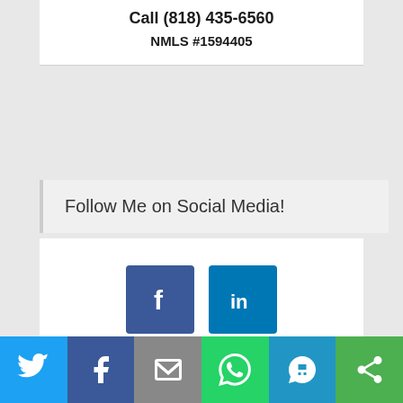Call (818) 435-6560
NMLS #1594405
Follow Me on Social Media!
[Figure (illustration): Facebook and LinkedIn social media icon buttons (blue square icons with f and in logos)]
[Figure (illustration): Share bar at bottom with Twitter, Facebook, Email, WhatsApp, SMS, and share icons]